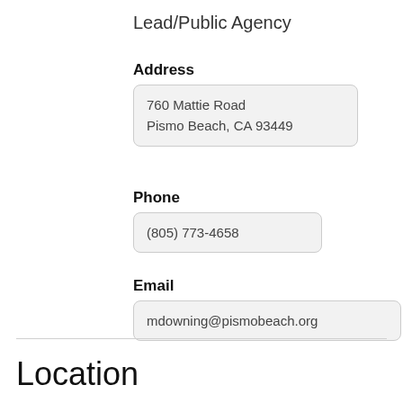Lead/Public Agency
Address
760 Mattie Road
Pismo Beach, CA 93449
Phone
(805) 773-4658
Email
mdowning@pismobeach.org
Location